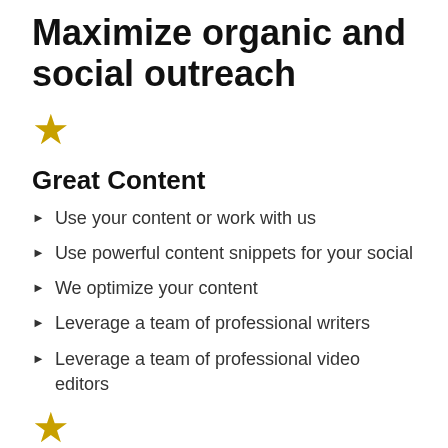Maximize organic and social outreach
[Figure (illustration): Gold star icon]
Great Content
Use your content or work with us
Use powerful content snippets for your social
We optimize your content
Leverage a team of professional writers
Leverage a team of professional video editors
[Figure (illustration): Gold star icon]